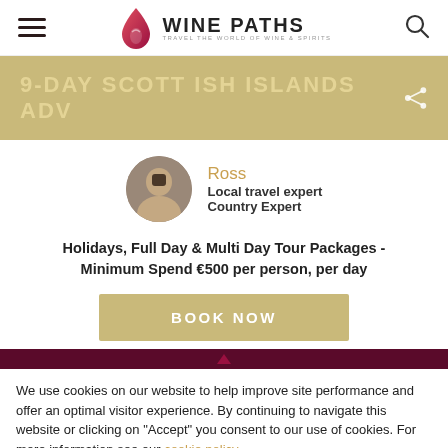Wine Paths — Travel the World of Wine & Spirits
9-DAY SCOTTISH ISLANDS ADV
Ross
Local travel expert
Country Expert
Holidays, Full Day & Multi Day Tour Packages - Minimum Spend €500 per person, per day
BOOK NOW
We use cookies on our website to help improve site performance and offer an optimal visitor experience. By continuing to navigate this website or clicking on "Accept" you consent to our use of cookies. For more information see our cookie policy.
Customize   ACCEPT